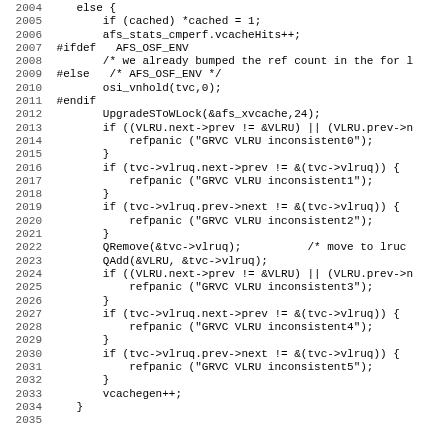Source code listing, lines 2004-2035, C code with line numbers